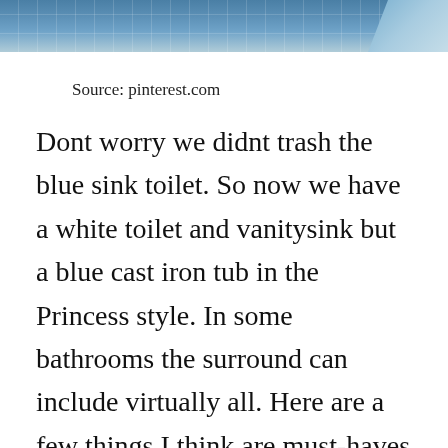[Figure (photo): Top portion of a bathroom photo showing blue tiles, partially cropped at the top of the page]
Source: pinterest.com
Dont worry we didnt trash the blue sink toilet. So now we have a white toilet and vanitysink but a blue cast iron tub in the Princess style. In some bathrooms the surround can include virtually all. Here are a few things I think are must-haves for decorating around a bathtub. If you are designing a pink-and-blue tile bathroom like this from scratch BW has a decisively